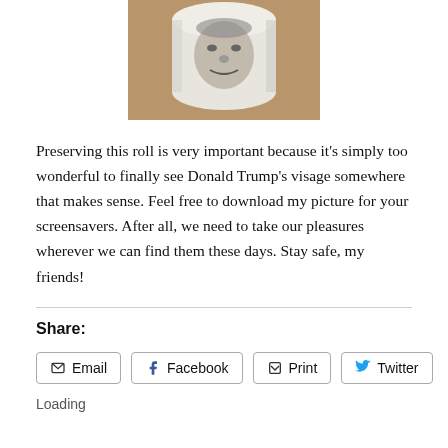[Figure (photo): A toilet paper roll with a face printed on it, sitting on a wooden surface. The face appears to be Donald Trump's.]
Preserving this roll is very important because it's simply too wonderful to finally see Donald Trump's visage somewhere that makes sense. Feel free to download my picture for your screensavers. After all, we need to take our pleasures wherever we can find them these days. Stay safe, my friends!
Share:
Email  Facebook  Print  Twitter
Loading